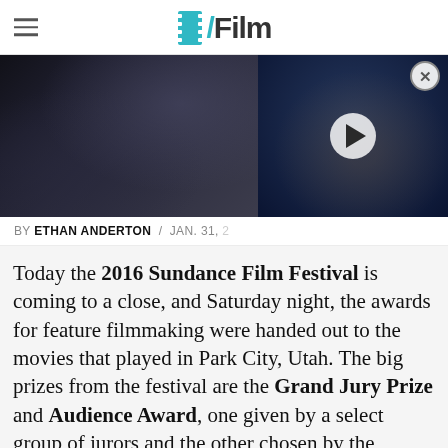/Film
[Figure (photo): Two side-by-side images: left shows a dark, moody cinematic still of figures in dark clothing; right shows a woman in a black mask/catwoman-style costume with blonde hair, overlaid with a video play button.]
BY ETHAN ANDERTON / JAN. 31,
Today the 2016 Sundance Film Festival is coming to a close, and Saturday night, the awards for feature filmmaking were handed out to the movies that played in Park City, Utah. The big prizes from the festival are the Grand Jury Prize and Audience Award, one given by a select group of jurors and the other chosen by the festival attendees themselves. In 2014, Whiplash took both awards, and this year we have another film taking the two honors as Nate